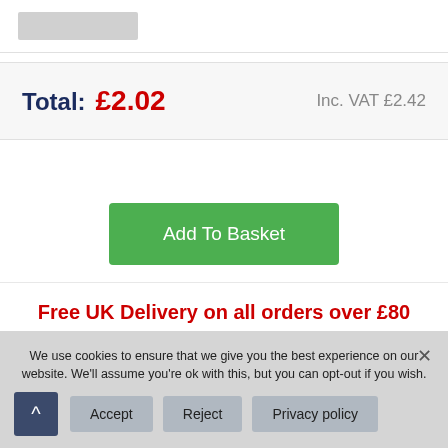[Figure (other): Partial product image placeholder (gray bar at top)]
Total: £2.02  Inc. VAT £2.42
Add To Basket
Free UK Delivery on all orders over £80
We use cookies to ensure that we give you the best experience on our website. We'll assume you're ok with this, but you can opt-out if you wish.
Accept
Reject
Privacy policy